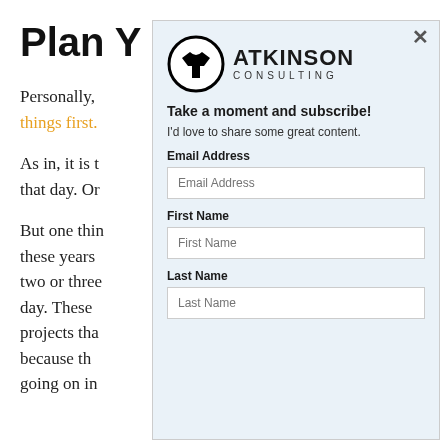Plan Y
Personally, things first.
As in, it is t that day. Or
But one thin these years two or three day. These projects tha because th going on in
[Figure (logo): Atkinson Consulting logo with t-shirt icon in a circle]
Take a moment and subscribe!
I'd love to share some great content.
Email Address
First Name
Last Name